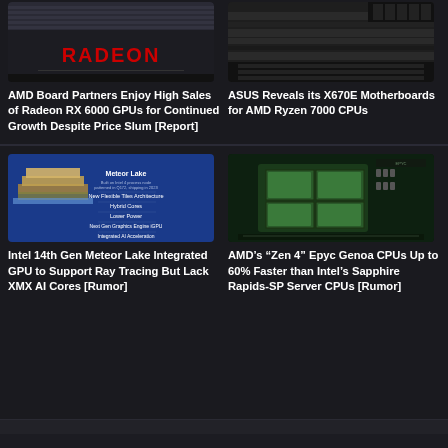[Figure (photo): AMD Radeon graphics card with RADEON logo visible on the cooler shroud, dark background]
AMD Board Partners Enjoy High Sales of Radeon RX 6000 GPUs for Continued Growth Despite Price Slum [Report]
[Figure (photo): ASUS X670E motherboard close-up showing slots and PCB components]
ASUS Reveals its X670E Motherboards for AMD Ryzen 7000 CPUs
[Figure (photo): Intel Meteor Lake chip architecture diagram showing Flexible Tiles Architecture, Hybrid Cores, Lower Power, Next Gen Graphics Engine iGPU, Integrated AI Acceleration on blue background]
Intel 14th Gen Meteor Lake Integrated GPU to Support Ray Tracing But Lack XMX AI Cores [Rumor]
[Figure (photo): AMD Epyc Genoa server CPU chip close-up showing green PCB and multiple chiplets]
AMD’s “Zen 4” Epyc Genoa CPUs Up to 60% Faster than Intel’s Sapphire Rapids-SP Server CPUs [Rumor]